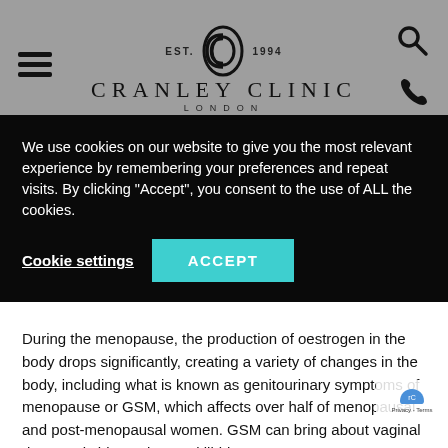[Figure (logo): Cranley Clinic London logo with EST. 1994 and overlapping C letters, plus hamburger menu, search and phone icons on grey background]
We use cookies on our website to give you the most relevant experience by remembering your preferences and repeat visits. By clicking "Accept", you consent to the use of ALL the cookies.
Cookie settings   ACCEPT
During the menopause, the production of oestrogen in the body drops significantly, creating a variety of changes in the body, including what is known as genitourinary symptoms of menopause or GSM, which affects over half of menopausal and post-menopausal women. GSM can bring about vaginal dryness, itching, a lowered libido,